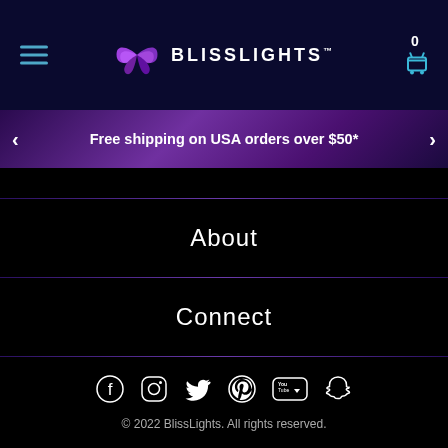BlissLights™ — navigation header with hamburger menu, logo, and cart (0)
Free shipping on USA orders over $50*
About
Connect
[Figure (infographic): Social media icons row: Facebook, Instagram, Twitter, Pinterest, YouTube, Snapchat]
© 2022 BlissLights. All rights reserved.